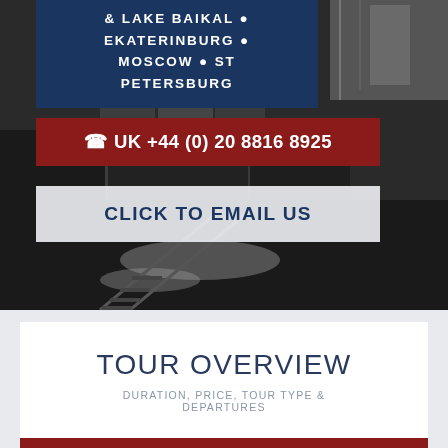[Figure (photo): Dark industrial/railway background photo with train cars and tracks, partially black and white]
& LAKE BAIKAL • EKATERINBURG • MOSCOW • ST PETERSBURG
☎ UK +44 (0) 20 8816 8925
CLICK TO EMAIL US
TOUR OVERVIEW
DURATION, PRICE, TOUR TYPE & DEPARTURES